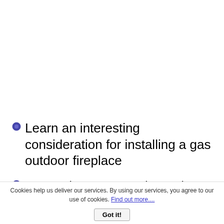Learn an interesting consideration for installing a gas outdoor fireplace
Learn about a neat alternative to the traditional outdoor fireplace
(partially visible)
Cookies help us deliver our services. By using our services, you agree to our use of cookies. Find out more.... Got it!